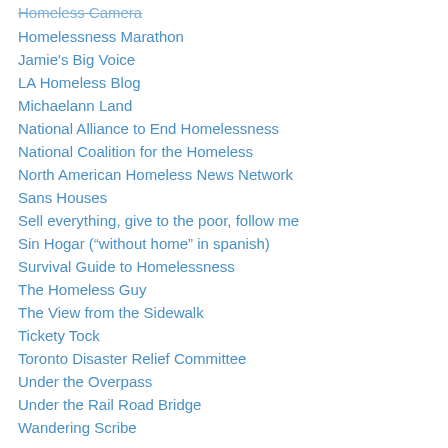Homeless Camera
Homelessness Marathon
Jamie's Big Voice
LA Homeless Blog
Michaelann Land
National Alliance to End Homelessness
National Coalition for the Homeless
North American Homeless News Network
Sans Houses
Sell everything, give to the poor, follow me
Sin Hogar (“without home” in spanish)
Survival Guide to Homelessness
The Homeless Guy
The View from the Sidewalk
Tickety Tock
Toronto Disaster Relief Committee
Under the Overpass
Under the Rail Road Bridge
Wandering Scribe